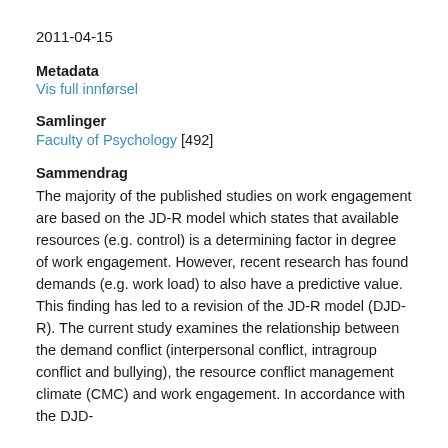2011-04-15
Metadata
Vis full innførsel
Samlinger
Faculty of Psychology [492]
Sammendrag
The majority of the published studies on work engagement are based on the JD-R model which states that available resources (e.g. control) is a determining factor in degree of work engagement. However, recent research has found demands (e.g. work load) to also have a predictive value. This finding has led to a revision of the JD-R model (DJD-R). The current study examines the relationship between the demand conflict (interpersonal conflict, intragroup conflict and bullying), the resource conflict management climate (CMC) and work engagement. In accordance with the DJD-